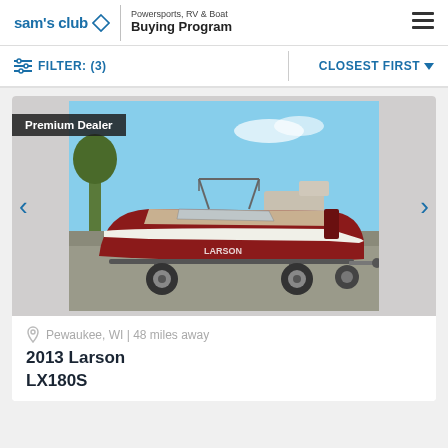sam's club ◇ | Powersports, RV & Boat Buying Program
FILTER: (3)  |  CLOSEST FIRST
[Figure (photo): Red/maroon Larson LX180S boat on a trailer in a dealer lot on a sunny day with blue sky. A 'Premium Dealer' badge overlay appears in the upper left of the image. Navigation arrows appear on the left and right sides of the image carousel.]
Pewaukee, WI | 48 miles away
2013 Larson LX180S